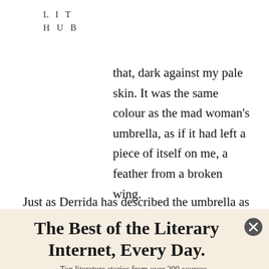LIT
HUB
that, dark against my pale skin. It was the same colour as the mad woman’s umbrella, as if it had left a piece of itself on me, a feather from a broken wing.
Just as Derrida has described the umbrella as both feminine and phallic, so too does it
The Best of the Literary Internet, Every Day.
Top literature stories from over 200 sources.
[Figure (screenshot): Email input field (empty) and a red SUBSCRIBE button below it]